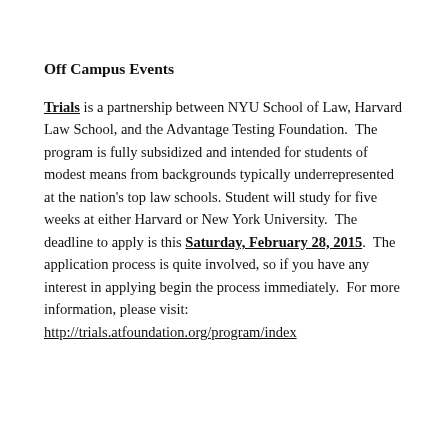Off Campus Events
Trials is a partnership between NYU School of Law, Harvard Law School, and the Advantage Testing Foundation.  The program is fully subsidized and intended for students of modest means from backgrounds typically underrepresented at the nation's top law schools. Student will study for five weeks at either Harvard or New York University.  The deadline to apply is this Saturday, February 28, 2015.  The application process is quite involved, so if you have any interest in applying begin the process immediately.  For more information, please visit: http://trials.atfoundation.org/program/index